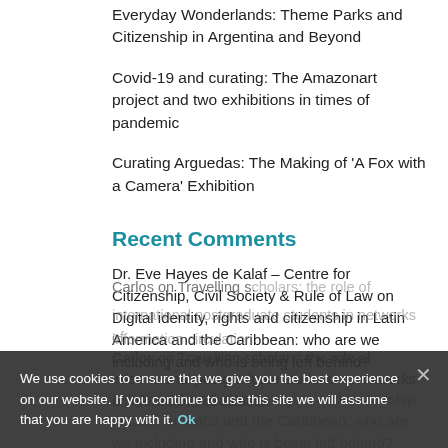Everyday Wonderlands: Theme Parks and Citizenship in Argentina and Beyond
Covid-19 and curating: The Amazonart project and two exhibitions in times of pandemic
Curating Arguedas: The Making of 'A Fox with a Camera' Exhibition
Recent Comments
Dr. Eve Hayes de Kalaf – Centre for Citizenship, Civil Society & Rule of Law on Digital identity, rights and citizenship in Latin America and the Caribbean: who are we including and who is being left behind?
Dawn on Digital identity, rights and citizenship in Latin America and the Caribbean: who are we including and who is being left behind?
Carlos on Travelling scholars: the role of international postgraduate students in networks of information circulation
We use cookies to ensure that we give you the best experience on our website. If you continue to use this site we will assume that you are happy with it. Ok